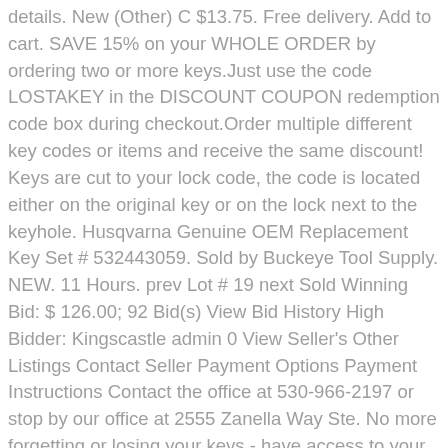details. New (Other) C $13.75. Free delivery. Add to cart. SAVE 15% on your WHOLE ORDER by ordering two or more keys.Just use the code LOSTAKEY in the DISCOUNT COUPON redemption code box during checkout.Order multiple different key codes or items and receive the same discount! Keys are cut to your lock code, the code is located either on the original key or on the lock next to the keyhole. Husqvarna Genuine OEM Replacement Key Set # 532443059. Sold by Buckeye Tool Supply. NEW. 11 Hours. prev Lot # 19 next Sold Winning Bid: $ 126.00; 92 Bid(s) View Bid History High Bidder: Kingscastle admin 0 View Seller's Other Listings Contact Seller Payment Options Payment Instructions Contact the office at 530-966-2197 or stop by our office at 2555 Zanella Way Ste. No more forgetting or losing your keys - have access to your tools directly from your phone. Craftsman has two types of lock cores and keys that have numbers printed on the front of the locks. EL21, R1096EN Craftsman Tool Box Key Here is a list of cross reference key blanks MEG / Part Number: Ilco: R1096EN